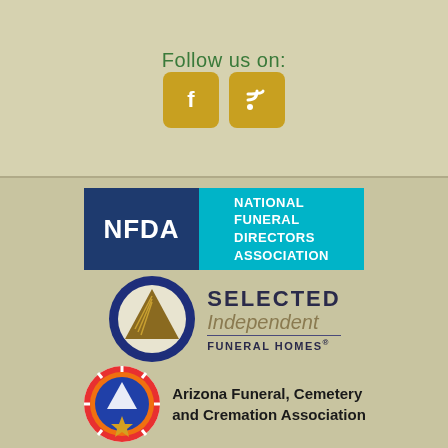Follow us on:
[Figure (logo): Facebook and RSS feed social media icons in gold/yellow rounded square buttons]
[Figure (logo): NFDA - National Funeral Directors Association logo with dark blue left panel and cyan right panel]
[Figure (logo): Selected Independent Funeral Homes logo with blue seal emblem containing gold pyramid/triangle and italic text]
[Figure (logo): Arizona Funeral, Cemetery and Cremation Association logo with circular emblem featuring red/orange/blue design with star]